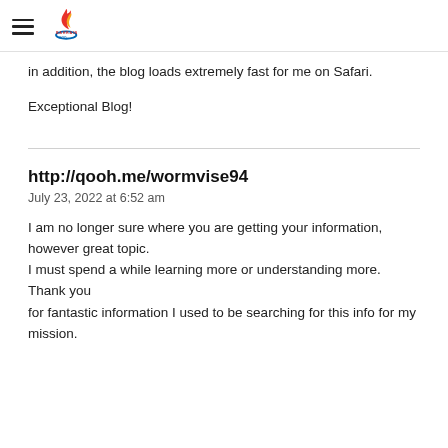Bahrain Olympic Committee
in addition, the blog loads extremely fast for me on Safari.
Exceptional Blog!
http://qooh.me/wormvise94
July 23, 2022 at 6:52 am
I am no longer sure where you are getting your information, however great topic. I must spend a while learning more or understanding more. Thank you for fantastic information I used to be searching for this info for my mission.